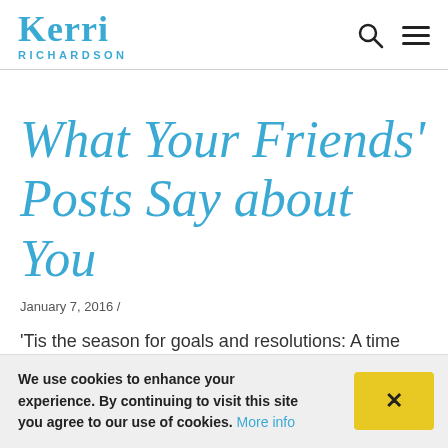Kerri Richardson — logo and navigation icons
What Your Friends' Posts Say about You
January 7, 2016 /
'Tis the season for goals and resolutions: A time when you may feel inspired and motivated, or
We use cookies to enhance your experience. By continuing to visit this site you agree to our use of cookies. More info